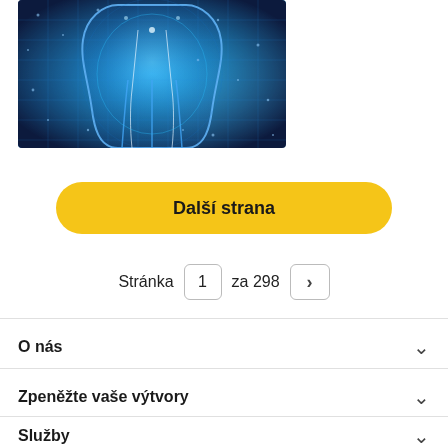[Figure (illustration): Scientific dental illustration showing cross-section of a tooth with blue glowing energy field, particles and grid lines on a dark blue background]
Další strana
Stránka 1 za 298 >
O nás
Zpeněžte vaše výtvory
Služby